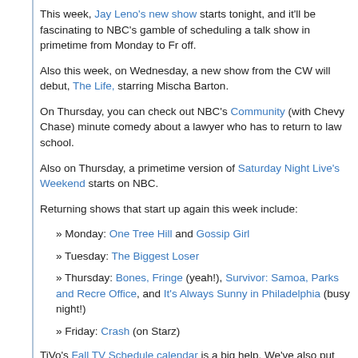This week, Jay Leno's new show starts tonight, and it'll be fascinating to see NBC's gamble of scheduling a talk show in primetime from Monday to Fr... off.
Also this week, on Wednesday, a new show from the CW will debut, The... Life, starring Mischa Barton.
On Thursday, you can check out NBC's Community (with Chevy Chase) ...minute comedy about a lawyer who has to return to law school.
Also on Thursday, a primetime version of Saturday Night Live's Weekend... starts on NBC.
Returning shows that start up again this week include:
» Monday: One Tree Hill and Gossip Girl
» Tuesday: The Biggest Loser
» Thursday: Bones, Fringe (yeah!), Survivor: Samoa, Parks and Recre... Office, and It's Always Sunny in Philadelphia (busy night!)
» Friday: Crash (on Starz)
TiVo's Fall TV Schedule calendar is a big help. We've also put some wor... TV Guru Guide to make it a bit easier to find the new and returning show... DVR.
You can also check out the Premiere Dates thread on the TiVoCommuniti...